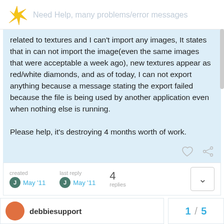Need Help, many problems/error messages
related to textures and I can't import any images, It states that in can not import the image(even the same images that were acceptable a week ago), new textures appear as red/white diamonds, and as of today, I can not export anything because a message stating the export failed because the file is being used by another application even when nothing else is running.

Please help, it's destroying 4 months worth of work.
created May '11   last reply May '11   4 replies
debbiesupport
1 / 5